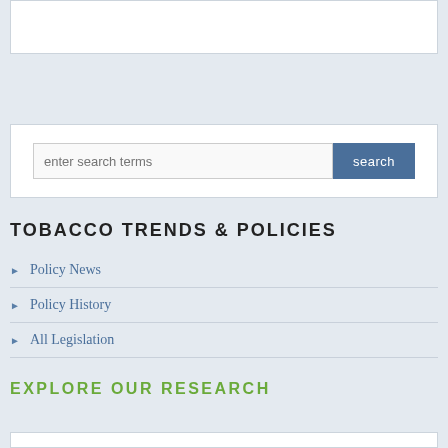[Figure (screenshot): White rectangular box at top of page, partially visible, representing a UI element or banner area]
enter search terms
TOBACCO TRENDS & POLICIES
Policy News
Policy History
All Legislation
EXPLORE OUR RESEARCH